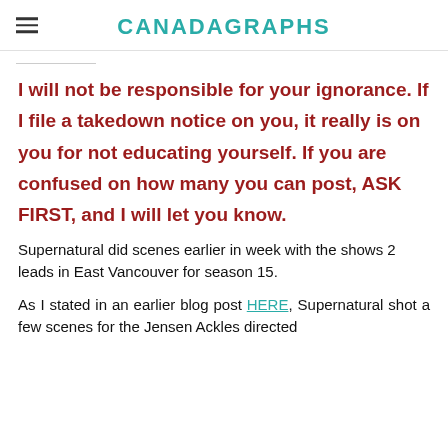CANADAGRAPHS
I will not be responsible for your ignorance. If I file a takedown notice on you, it really is on you for not educating yourself. If you are confused on how many you can post, ASK FIRST, and I will let you know.
Supernatural did scenes earlier in week with the shows 2 leads in East Vancouver for season 15.
As I stated in an earlier blog post HERE, Supernatural shot a few scenes for the Jensen Ackles directed